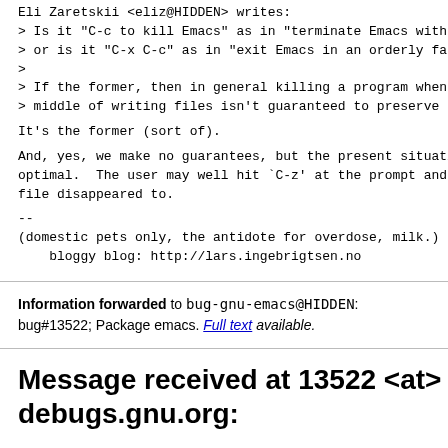Eli Zaretskii <eliz@HIDDEN> writes:
> Is it "C-c to kill Emacs" as in "terminate Emacs with a
> or is it "C-x C-c" as in "exit Emacs in an orderly fash
>
> If the former, then in general killing a program when i
> middle of writing files isn't guaranteed to preserve th
It's the former (sort of).
And, yes, we make no guarantees, but the present situatio
optimal.  The user may well hit `C-z' at the prompt and w
file disappeared to.
--
(domestic pets only, the antidote for overdose, milk.)
    bloggy blog: http://lars.ingebrigtsen.no
Information forwarded to bug-gnu-emacs@HIDDEN:
bug#13522; Package emacs. Full text available.
Message received at 13522 <at> debugs.gnu.org: